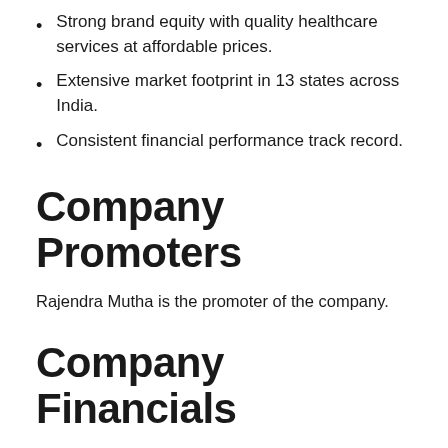Strong brand equity with quality healthcare services at affordable prices.
Extensive market footprint in 13 states across India.
Consistent financial performance track record.
Company Promoters
Rajendra Mutha is the promoter of the company.
Company Financials
| Particulars | For the year/period ended (₹ in million) | 31-Mar-22 | 31-Mar-19 |
| --- | --- | --- | --- |
|  | 31-Mar-21 | 31-Mar-22 | 31-Mar-19 |